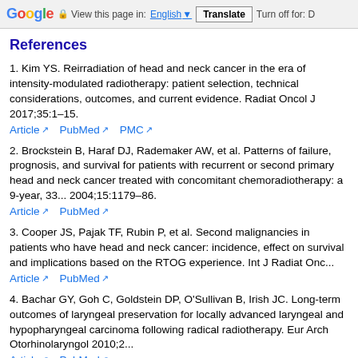Google  View this page in: English  Translate  Turn off for: D
References
1. Kim YS. Reirradiation of head and neck cancer in the era of intensity-mo... and current evidence. Radiat Oncol J 2017;35:1–15. Article  PubMed  PMC
2. Brockstein B, Haraf DJ, Rademaker AW, et al. Patterns of failure, progno... and neck cancer treated with concomitant chemoradiotherapy: a 9-year, 33... 2004;15:1179–86. Article  PubMed
3. Cooper JS, Pajak TF, Rubin P, et al. Second malignancies in patients wh... survival and implications based on the RTOG experience. Int J Radiat Onc... Article  PubMed
4. Bachar GY, Goh C, Goldstein DP, O'Sullivan B, Irish JC. Long-term outc... carcinoma following radical radiotherapy. Eur Arch Otorhinolaryngol 2010:2... Article  PubMed
5. Zhang B, Mo Z, Du W, Wang Y, Liu L, Wei Y. Intensity-modulated radiati... nasopharyngeal carcinoma: a systematic review and meta-analysis. Oral C... Article  PubMed